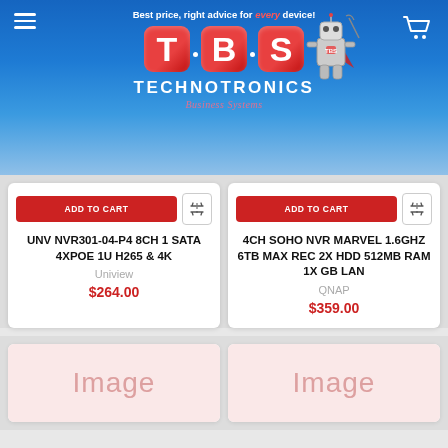Best price, right advice for every device!
[Figure (logo): TBS Technotronics logo with robot mascot and tagline 'Business Systems']
ADD TO CART
UNV NVR301-04-P4 8CH 1 SATA 4XPOE 1U H265 & 4K
Uniview
$264.00
ADD TO CART
4CH SOHO NVR MARVEL 1.6GHZ 6TB MAX REC 2X HDD 512MB RAM 1X GB LAN
QNAP
$359.00
[Figure (photo): Partial product image placeholder (bottom left card)]
[Figure (photo): Partial product image placeholder (bottom right card)]